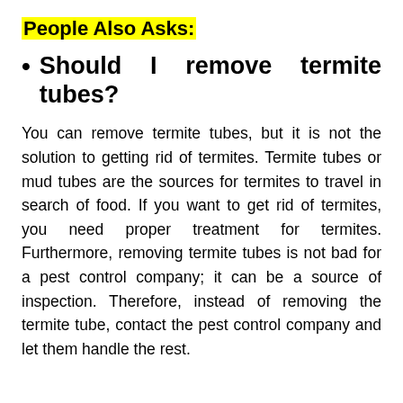People Also Asks:
Should I remove termite tubes?
You can remove termite tubes, but it is not the solution to getting rid of termites. Termite tubes or mud tubes are the sources for termites to travel in search of food. If you want to get rid of termites, you need proper treatment for termites. Furthermore, removing termite tubes is not bad for a pest control company; it can be a source of inspection. Therefore, instead of removing the termite tube, contact the pest control company and let them handle the rest.